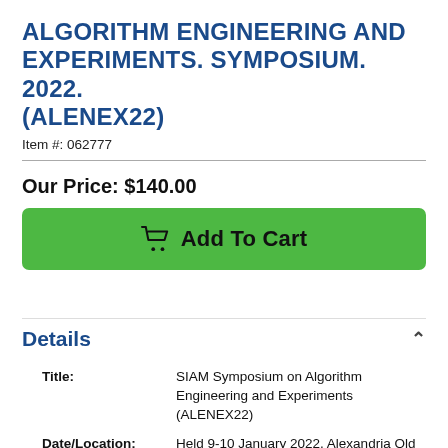ALGORITHM ENGINEERING AND EXPERIMENTS. SYMPOSIUM. 2022. (ALENEX22)
Item #: 062777
Our Price: $140.00
[Figure (other): Green 'Add To Cart' button with shopping cart icon]
Details
| Title: | SIAM Symposium on Algorithm Engineering and Experiments (ALENEX22) |
| Date/Location: | Held 9-10 January 2022, Alexandria Old |